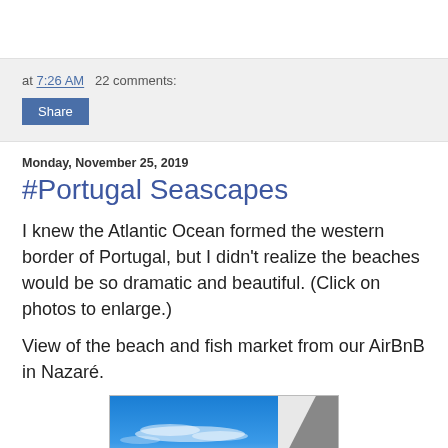at 7:26 AM   22 comments:
Share
Monday, November 25, 2019
#Portugal Seascapes
I knew the Atlantic Ocean formed the western border of Portugal, but I didn't realize the beaches would be so dramatic and beautiful. (Click on photos to enlarge.)
View of the beach and fish market from our AirBnB in Nazaré.
[Figure (photo): Partial view of a beach photo showing blue sky with white clouds and a gray corner/edge of a building or structure]